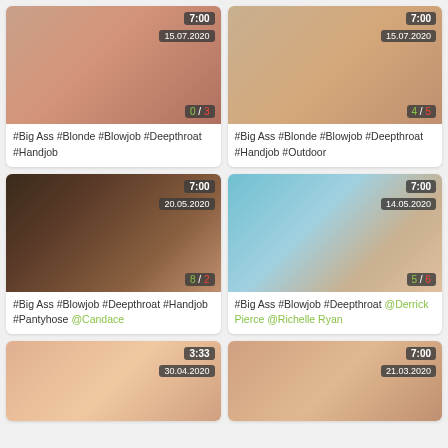[Figure (screenshot): Video thumbnail grid - adult content website with 6 video thumbnails arranged in 2 columns]
#Big Ass #Blonde #Blowjob #Deepthroat #Handjob
#Big Ass #Blonde #Blowjob #Deepthroat #Handjob #Outdoor
#Big Ass #Blowjob #Deepthroat #Handjob #Pantyhose @Candace
#Big Ass #Blowjob #Deepthroat @Derrick Pierce @Richelle Ryan